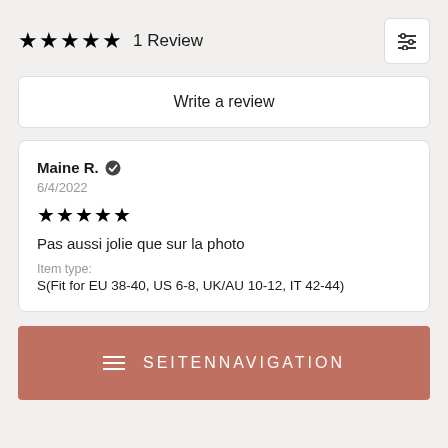★★★★★ 1 Review
Write a review
Maine R. ✔
6/4/2022
★★★★★
Pas aussi jolie que sur la photo
Item type:
S(Fit for EU 38-40, US 6-8, UK/AU 10-12, IT 42-44)
SEITENNAVIGATION